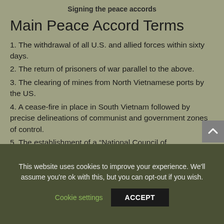Signing the peace accords
Main Peace Accord Terms
1. The withdrawal of all U.S. and allied forces within sixty days.
2. The return of prisoners of war parallel to the above.
3. The clearing of mines from North Vietnamese ports by the US.
4. A cease-fire in place in South Vietnam followed by precise delineations of communist and government zones of control.
5. The establishment of a “National Council of
This website uses cookies to improve your experience. We'll assume you're ok with this, but you can opt-out if you wish.
Cookie settings   ACCEPT